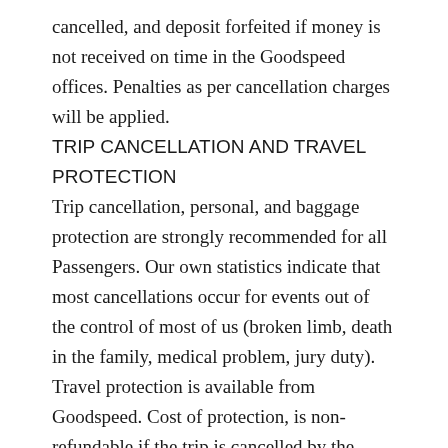cancelled, and deposit forfeited if money is not received on time in the Goodspeed offices. Penalties as per cancellation charges will be applied.
TRIP CANCELLATION AND TRAVEL PROTECTION
Trip cancellation, personal, and baggage protection are strongly recommended for all Passengers. Our own statistics indicate that most cancellations occur for events out of the control of most of us (broken limb, death in the family, medical problem, jury duty). Travel protection is available from Goodspeed. Cost of protection, is non-refundable if the trip is cancelled by the passenger at any time.
VOUCHERS AND INVOICES
It is the client's responsibility to check the accuracy of the information on vouchers and invoices.
RESPONSIBILITY CLAUSE